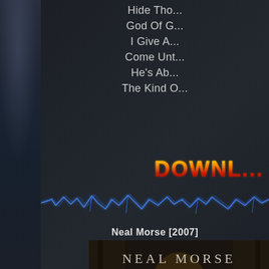Hide Tho...
God Of G...
I Give A...
Come Unt...
He's Ab...
The Kind O...
[Figure (other): Fire-styled DOWNLOAD button text in orange/red gradient flames]
[Figure (illustration): Blue lightning bolt decorative divider line]
Neal Morse [2007]
[Figure (photo): Neal Morse - Sola Scriptura album cover showing stone archway with light]